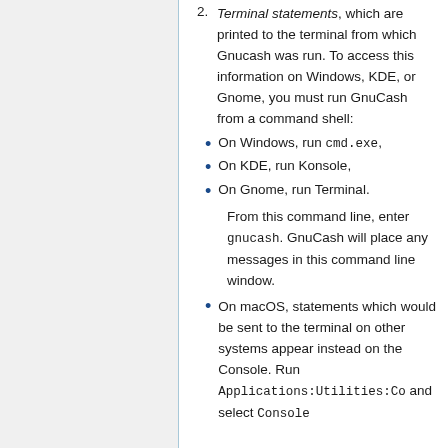Terminal statements, which are printed to the terminal from which Gnucash was run. To access this information on Windows, KDE, or Gnome, you must run GnuCash from a command shell:
On Windows, run cmd.exe,
On KDE, run Konsole,
On Gnome, run Terminal. From this command line, enter gnucash. GnuCash will place any messages in this command line window.
On macOS, statements which would be sent to the terminal on other systems appear instead on the Console. Run Applications:Utilities:Console and select Console